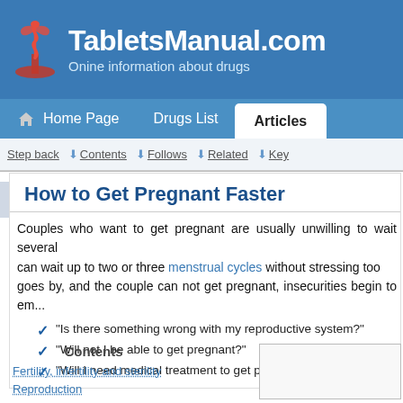TabletsManual.com — Online information about drugs
Home Page | Drugs List | Articles
Step back | Contents | Follows | Related | Key
How to Get Pregnant Faster
Couples who want to get pregnant are usually unwilling to wait several months. Most can wait up to two or three menstrual cycles without stressing too much. But as time goes by, and the couple can not get pregnant, insecurities begin to emerge:
"Is there something wrong with my reproductive system?"
"Will not I be able to get pregnant?"
"Will I need medical treatment to get pregnant?"
Contents
Fertility, infertility and sterility
Reproduction